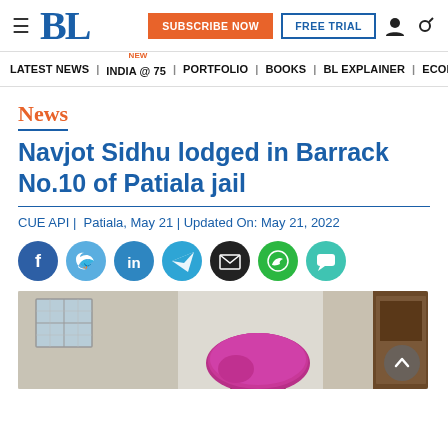BL | SUBSCRIBE NOW | FREE TRIAL
LATEST NEWS | INDIA @ 75 NEW | PORTFOLIO | BOOKS | BL EXPLAINER | ECONOMY | AGR
News
Navjot Sidhu lodged in Barrack No.10 of Patiala jail
CUE API |  Patiala, May 21 | Updated On: May 21, 2022
[Figure (photo): Photo of a room interior with a person wearing a pink/magenta turban, a window with grilles, and wooden furniture in the background]